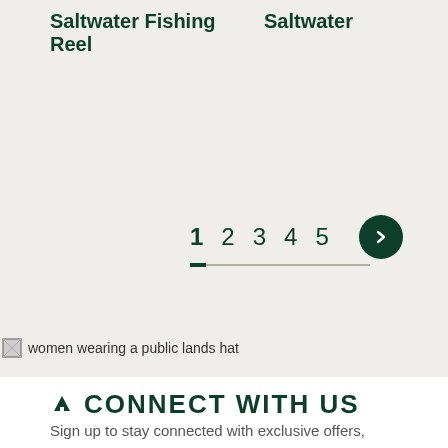Saltwater Fishing Reel   Saltwater
[Figure (other): Pagination navigation showing page numbers 1 2 3 4 5 with page 1 active (underlined) and a next arrow button]
[Figure (photo): women wearing a public lands hat]
CONNECT WITH US
Sign up to stay connected with exclusive offers, stories, activism, events and more.